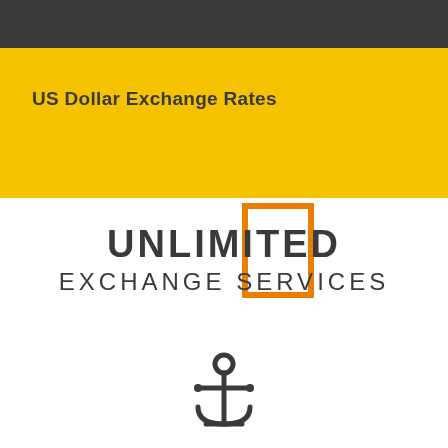US Dollar Exchange Rates
[Figure (logo): Unlimited Exchange Services logo with orange rectangle graphic, bold UNLIMITED text, EXCHANGE SERVICES text, and an anchor icon below]